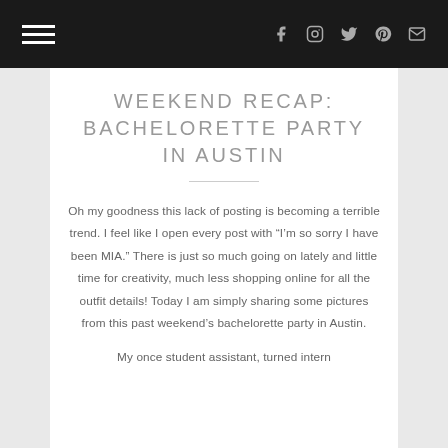Navigation bar with hamburger menu and social icons (Facebook, Instagram, Twitter, Pinterest, Email)
WEEKEND RECAP: BACHELORETTE PARTY IN AUSTIN
Oh my goodness this lack of posting is becoming a terrible trend. I feel like I open every post with “I’m so sorry I have been MIA.” There is just so much going on lately and little time for creativity, much less shopping online for all the outfit details! Today I am simply sharing some pictures from this past weekend’s bachelorette party in Austin.
My once student assistant, turned intern